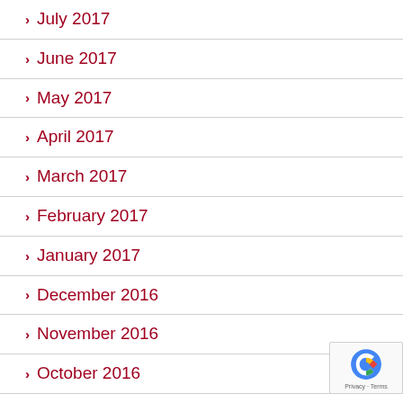July 2017
June 2017
May 2017
April 2017
March 2017
February 2017
January 2017
December 2016
November 2016
October 2016
September 2016